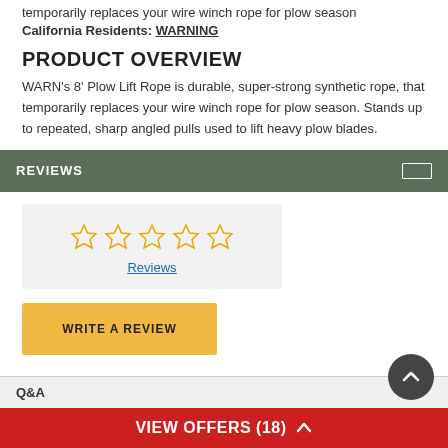temporarily replaces your wire winch rope for plow season
California Residents: WARNING
PRODUCT OVERVIEW
WARN's 8' Plow Lift Rope is durable, super-strong synthetic rope, that temporarily replaces your wire winch rope for plow season. Stands up to repeated, sharp angled pulls used to lift heavy plow blades.
REVIEWS
[Figure (other): Five empty star rating icons arranged horizontally with a Reviews link below]
WRITE A REVIEW
Q&A
VIEW OFFERS (18)